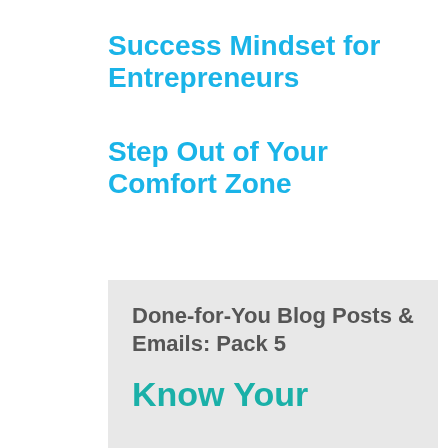Success Mindset for Entrepreneurs
Step Out of Your Comfort Zone
Done-for-You Blog Posts & Emails: Pack 5
Know Your